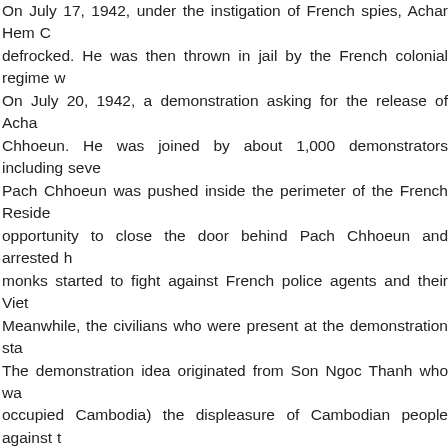On July 17, 1942, under the instigation of French spies, Achar Hem Chiev was defrocked. He was then thrown in jail by the French colonial regime w... On July 20, 1942, a demonstration asking for the release of Acha... Chhoeun. He was joined by about 1,000 demonstrators including seve... Pach Chhoeun was pushed inside the perimeter of the French Reside... opportunity to close the door behind Pach Chhoeun and arrested h... monks started to fight against French police agents and their Viet... Meanwhile, the civilians who were present at the demonstration sta... The demonstration idea originated from Son Ngoc Thanh who wa... occupied Cambodia) the displeasure of Cambodian people against t... French agents of the fascist Vichy regime, he would then ask the Japa... the release of Achar Hem Chiev. However, the fight and the arrest o... Thanh's plan. Following the demonstration, several important Camb... French after the demonstration. Accused of sedition (KI-Media Note: Villagers in Kratie who re... charged of secession), Achar Hem Chiev and several other Khmer... prison by the French colonial court, and sent to jail in Poulo Condor t...